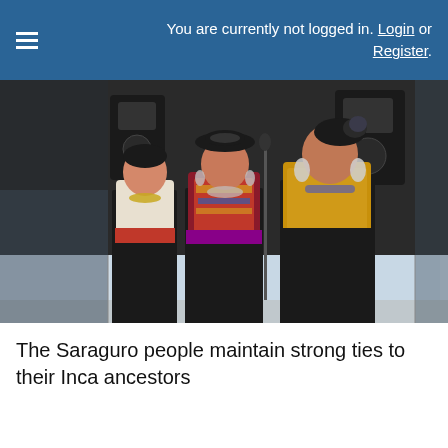You are currently not logged in. Login or Register.
[Figure (photo): Three women in traditional Saraguro indigenous clothing standing on a stage. They wear ornate embroidered tops, black skirts, decorative hats, and silver jewelry. A large speaker and dark canopy are visible in the background.]
The Saraguro people maintain strong ties to their Inca ancestors